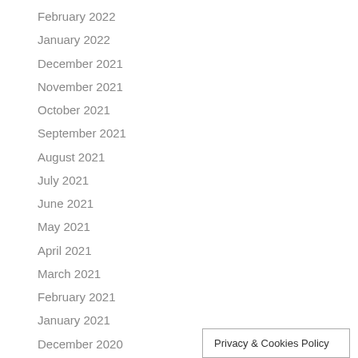February 2022
January 2022
December 2021
November 2021
October 2021
September 2021
August 2021
July 2021
June 2021
May 2021
April 2021
March 2021
February 2021
January 2021
December 2020
Privacy & Cookies Policy